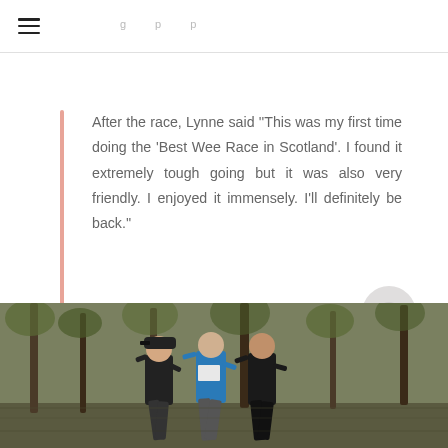After the race, Lynne said ''This was my first time doing the 'Best Wee Race in Scotland'. I found it extremely tough going but it was also very friendly. I enjoyed it immensely. I'll definitely be back.''
[Figure (photo): Three runners running through a wooded area during a race. One runner wears a black cap and black outfit, the middle runner wears a blue top, and the right runner wears dark clothing.]